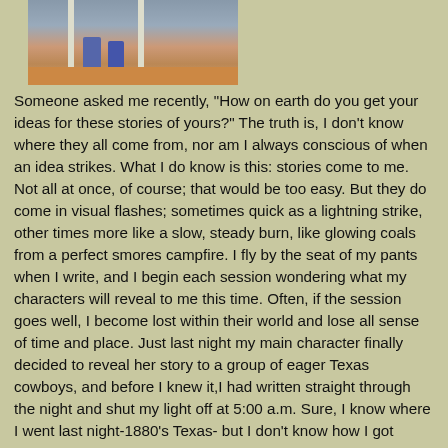[Figure (photo): Partial photo showing two people's legs/feet standing on a brick or tiled surface near white poles or pillars, cropped at the top of the page.]
Someone asked me recently, "How on earth do you get your ideas for these stories of yours?" The truth is, I don't know where they all come from, nor am I always conscious of when an idea strikes. What I do know is this: stories come to me. Not all at once, of course; that would be too easy. But they do come in visual flashes; sometimes quick as a lightning strike, other times more like a slow, steady burn, like glowing coals from a perfect smores campfire. I fly by the seat of my pants when I write, and I begin each session wondering what my characters will reveal to me this time. Often, if the session goes well, I become lost within their world and lose all sense of time and place. Just last night my main character finally decided to reveal her story to a group of eager Texas cowboys, and before I knew it,I had written straight through the night and shut my light off at 5:00 a.m. Sure, I know where I went last night-1880's Texas- but I don't know how I got there. Where did these brand new ideas come from? My MC revealed details of her life I certainly knew nothing about, and I created her. Or, so I as the writer, would like to think. Sometimes I wonder, but that's for